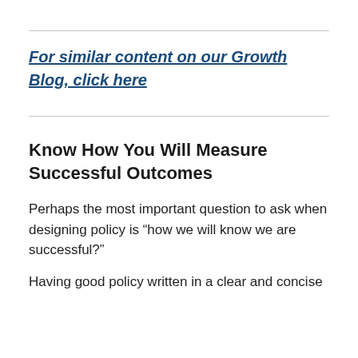For similar content on our Growth Blog, click here
Know How You Will Measure Successful Outcomes
Perhaps the most important question to ask when designing policy is “how we will know we are successful?”
Having good policy written in a clear and concise